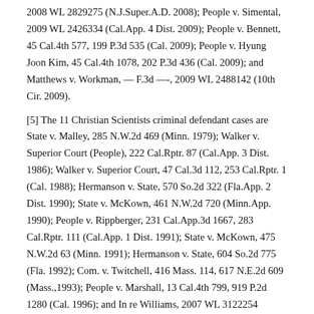2008 WL 2829275 (N.J.Super.A.D. 2008); People v. Simental, 2009 WL 2426334 (Cal.App. 4 Dist. 2009); People v. Bennett, 45 Cal.4th 577, 199 P.3d 535 (Cal. 2009); People v. Hyung Joon Kim, 45 Cal.4th 1078, 202 P.3d 436 (Cal. 2009); and Matthews v. Workman, — F.3d —-, 2009 WL 2488142 (10th Cir. 2009).
[5] The 11 Christian Scientists criminal defendant cases are State v. Malley, 285 N.W.2d 469 (Minn. 1979); Walker v. Superior Court (People), 222 Cal.Rptr. 87 (Cal.App. 3 Dist. 1986); Walker v. Superior Court, 47 Cal.3d 112, 253 Cal.Rptr. 1 (Cal. 1988); Hermanson v. State, 570 So.2d 322 (Fla.App. 2 Dist. 1990); State v. McKown, 461 N.W.2d 720 (Minn.App. 1990); People v. Rippberger, 231 Cal.App.3d 1667, 283 Cal.Rptr. 111 (Cal.App. 1 Dist. 1991); State v. McKown, 475 N.W.2d 63 (Minn. 1991); Hermanson v. State, 604 So.2d 775 (Fla. 1992); Com. v. Twitchell, 416 Mass. 114, 617 N.E.2d 609 (Mass.,1993); People v. Marshall, 13 Cal.4th 799, 919 P.2d 1280 (Cal. 1996); and In re Williams, 2007 WL 3122254 (Cal.App. 2 Dist. 2007).
[6] The nine Adventist criminal defendant cases, in chronological order, are U.S. v. Wright, 627 F.2d 1300 (D.C. Cir. 1980); Graham v. State, 480 N.E.2d 981 (Ind.App. 1 Dist. 1985); U.S. v. Henry, 217 F.3d 1999 (5th...